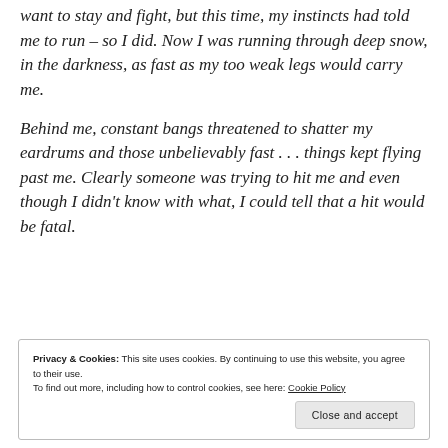want to stay and fight, but this time, my instincts had told me to run – so I did. Now I was running through deep snow, in the darkness, as fast as my too weak legs would carry me.
Behind me, constant bangs threatened to shatter my eardrums and those unbelievably fast . . . things kept flying past me. Clearly someone was trying to hit me and even though I didn't know with what, I could tell that a hit would be fatal.
Privacy & Cookies: This site uses cookies. By continuing to use this website, you agree to their use. To find out more, including how to control cookies, see here: Cookie Policy

Close and accept